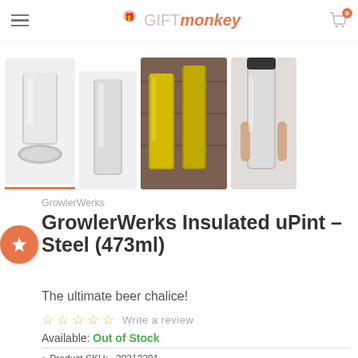GIFTmonkey
[Figure (photo): Four product thumbnails of the GrowlerWerks Insulated uPint stainless steel cup: first thumbnail shows cup with lid ring, second shows tall cup, third shows two cups on wooden background, fourth shows hand holding cup]
GrowlerWerks
GrowlerWerks Insulated uPint – Steel (473ml)
The ultimate beer chalice!
☆ ☆ ☆ ☆ ☆  Write a review
Available: Out of Stock
Product SKU:   29313291